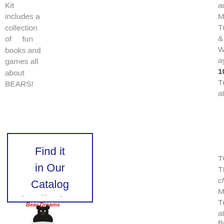Kit includes a collection of fun books and games all about BEARS!
added! Mondays, Tuesdays, & Wednesdays at 10:30am Tuesdays at 6:30pm
Find it in Our Catalog
TODDLER TIME –time change Mondays & Tuesdays at 9:30am
BOOK BABIES
[Figure (illustration): Book cover illustration for 'Bear Dreams' showing a black bear cub sitting on a white surface with small birds flying above]